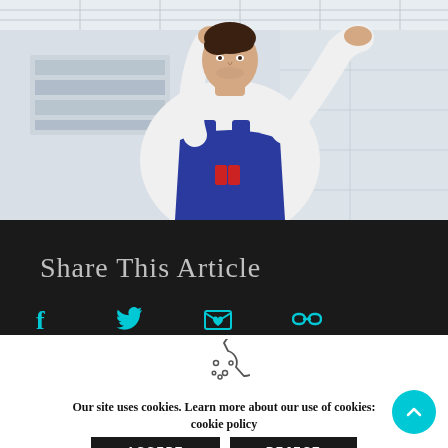[Figure (photo): A young man in a white t-shirt and blue overalls/apron working overhead on a ceiling tile/light installation in an office or commercial space]
Share This Article
[Figure (infographic): Social sharing icons: Facebook (f), Twitter (bird), Email (envelope with heart), Link (chain link) — all in teal/cyan color]
[Figure (illustration): Cookie consent icon — a circular cookie with bite taken out and chocolate chip dots, drawn in outline style]
Our site uses cookies. Learn more about our use of cookies: cookie policy
ACCEPT
REJECT